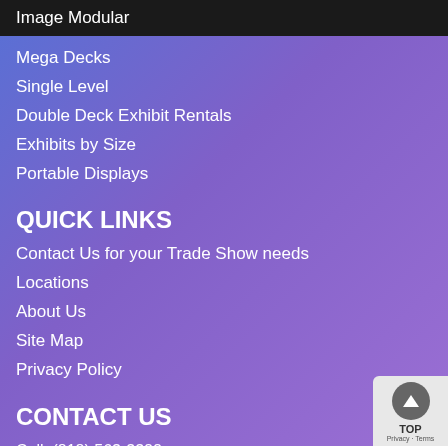Image Modular
Mega Decks
Single Level
Double Deck Exhibit Rentals
Exhibits by Size
Portable Displays
QUICK LINKS
Contact Us for your Trade Show needs
Locations
About Us
Site Map
Privacy Policy
CONTACT US
Call: (818) 563-3322
Email: Nick@DoubleDeckExhibitRentals.com